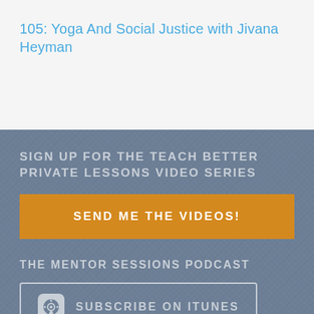105: Yoga And Social Justice with Jivana Heyman
SIGN UP FOR THE TEACH BETTER PRIVATE LESSONS VIDEO SERIES
SEND ME THE VIDEOS!
THE MENTOR SESSIONS PODCAST
SUBSCRIBE ON ITUNES